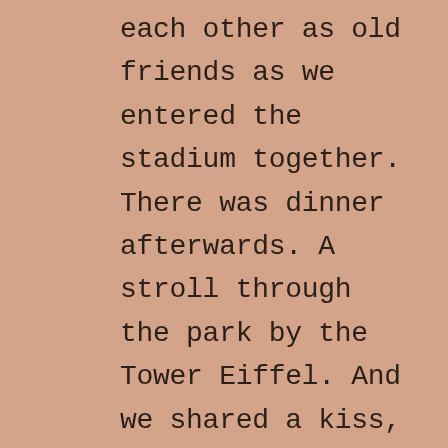each other as old friends as we entered the stadium together. There was dinner afterwards. A stroll through the park by the Tower Eiffel. And we shared a kiss, husband and I at the wife's request. It was a shy peck on the lips until she baulked that we should kiss as they French would kiss. We did. It was spine tingling. We walked and talked until we found our way back to their hotel. We sat in the lobby, at my insistence, I felt they needed to explore their options a little more. I sensed this would be a new